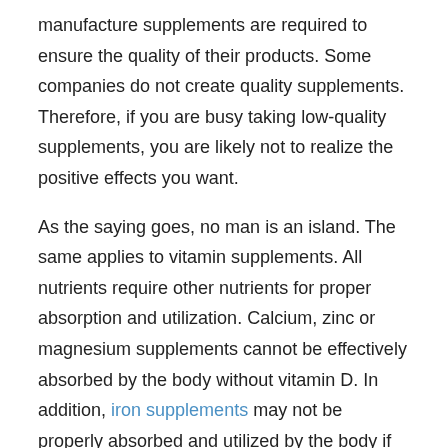manufacture supplements are required to ensure the quality of their products. Some companies do not create quality supplements. Therefore, if you are busy taking low-quality supplements, you are likely not to realize the positive effects you want.
As the saying goes, no man is an island. The same applies to vitamin supplements. All nutrients require other nutrients for proper absorption and utilization. Calcium, zinc or magnesium supplements cannot be effectively absorbed by the body without vitamin D. In addition, iron supplements may not be properly absorbed and utilized by the body if you are deficient on vitamins A, B or C.
It is essential to understand what is causing your vitamin deficiency in the first place before taking multivitamin supplements. Is it genetic? Could it be a side effect of some medication? Is it diet? Is it stress? If you do not resolve the cause of the deficiency, you may